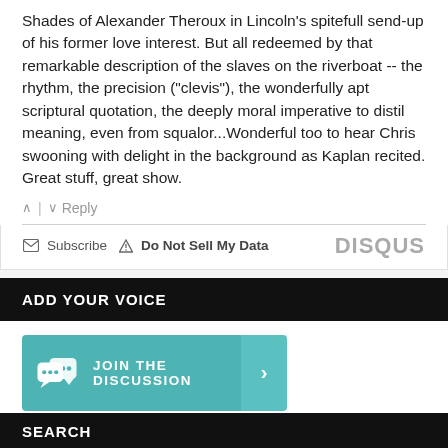Shades of Alexander Theroux in Lincoln's spitefull send-up of his former love interest. But all redeemed by that remarkable description of the slaves on the riverboat -- the rhythm, the precision ("clevis"), the wonderfully apt scriptural quotation, the deeply moral imperative to distil meaning, even from squalor...Wonderful too to hear Chris swooning with delight in the background as Kaplan recited. Great stuff, great show.
^ | v Reply
✉ Subscribe ⚠ Do Not Sell My Data   DISQUS
ADD YOUR VOICE
[Figure (infographic): Teal button with chat bubble icons and text 'JOIN THE DISCUSSION' with a right arrow]
SEARCH